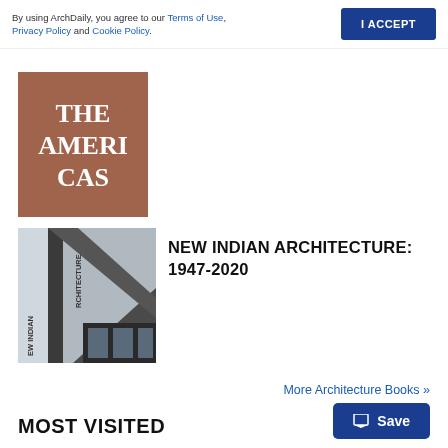By using ArchDaily, you agree to our Terms of Use, Privacy Policy and Cookie Policy. I ACCEPT
[Figure (illustration): Book cover with brown/terracotta background showing 'THE AMERICAS' text in white serif font, partially cropped]
[Figure (photo): Book cover for 'NEW INDIAN ARCHITECTURE: 1947-2020' showing a dark architectural building facade with vertical text on the spine]
NEW INDIAN ARCHITECTURE: 1947-2020
More Architecture Books »
Save
MOST VISITED